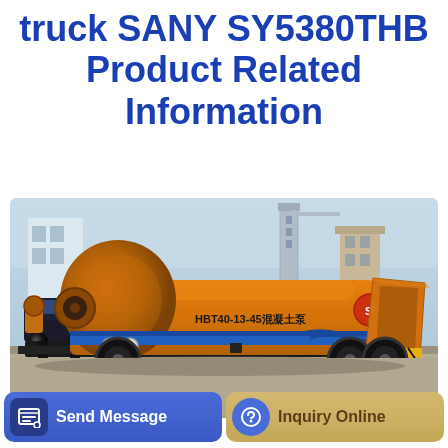truck SANY SY5380THB Product Related Information
[Figure (photo): Orange concrete pump truck (SANY HBT40-13-45) with blue stripe, hopper on right, mounted on wheeled chassis, parked outdoors with buildings in background]
Send Message
Inquiry Online